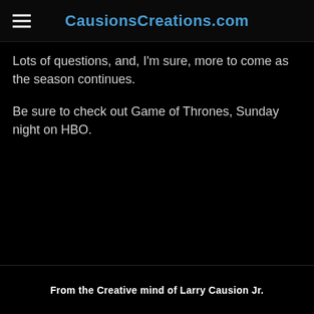CausionsCreations.com
Lots of questions, and, I'm sure, more to come as the season continues.
Be sure to check out Game of Thrones, Sunday night on HBO.
From the Creative mind of Larry Causion Jr.